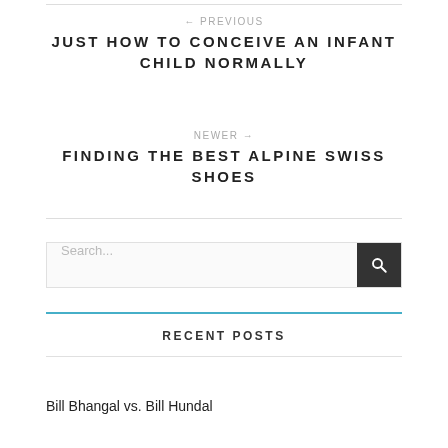← PREVIOUS
JUST HOW TO CONCEIVE AN INFANT CHILD NORMALLY
NEWER →
FINDING THE BEST ALPINE SWISS SHOES
Search...
RECENT POSTS
Bill Bhangal vs. Bill Hundal